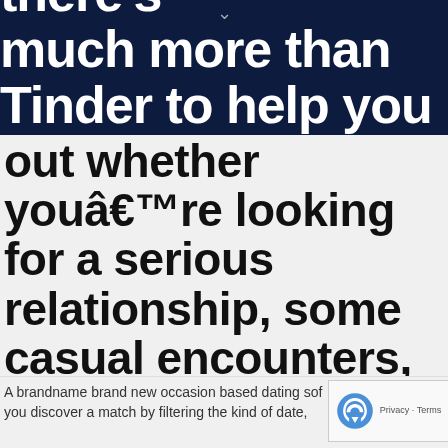some new connections, there's much more than Tinder to help you
out whether youâ€™re looking for a serious relationship, some casual encounters, experimental dating, or. Through the more mainstream to the niche, you are assured to discover something simply best for your needs. Best of luck, buddy.
A brandname brand new occasion based dating sof... you discover a match by filtering the kind of date,